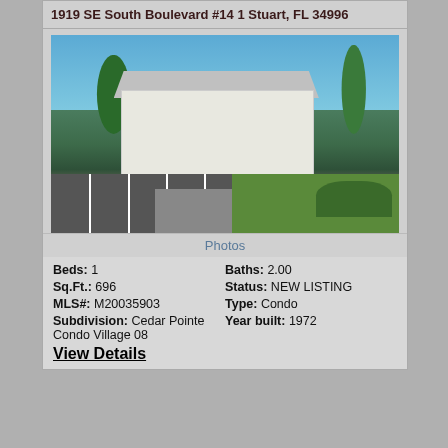1919 SE South Boulevard #14 1 Stuart, FL 34996
[Figure (photo): Exterior photo of a white two-story condo building with palm trees, parking lot in foreground, and landscaping]
Photos
| Beds: 1 | Baths: 2.00 |
| Sq.Ft.: 696 | Status: NEW LISTING |
| MLS#: M20035903 | Type: Condo |
| Subdivision: Cedar Pointe Condo Village 08 | Year built: 1972 |
View Details